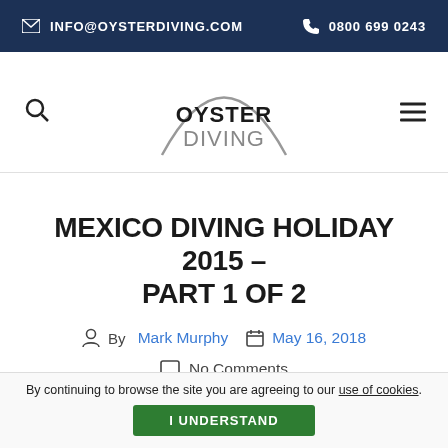INFO@OYSTERDIVING.COM  0800 699 0243
[Figure (logo): Oyster Diving logo — semicircle arc above text 'OYSTER DIVING']
MEXICO DIVING HOLIDAY 2015 – PART 1 OF 2
By Mark Murphy  May 16, 2018
No Comments
By continuing to browse the site you are agreeing to our use of cookies.  I UNDERSTAND